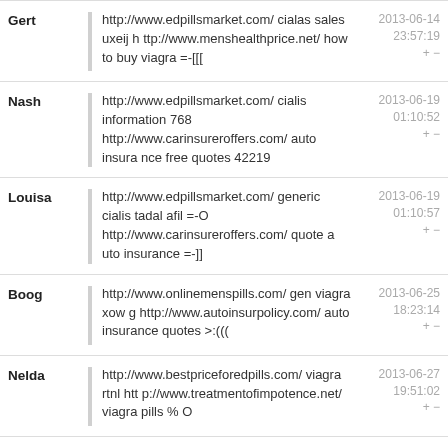Gert | http://www.edpillsmarket.com/ cialas sales uxeij http://www.menshealthprice.net/ how to buy viagra =-[[[ | 2013-06-14 23:57:19
Nash | http://www.edpillsmarket.com/ cialis information 768 http://www.carinsureroffers.com/ auto insurance free quotes 42219 | 2013-06-19 01:10:52
Louisa | http://www.edpillsmarket.com/ generic cialis tadalafil =-O http://www.carinsureroffers.com/ quote auto insurance =-]] | 2013-06-19 01:10:57
Boog | http://www.onlinemenspills.com/ gen viagra xowg http://www.autoinsurpolicy.com/ auto insurance quotes >:((( | 2013-06-25 18:23:14
Nelda | http://www.bestpriceforedpills.com/ viagra rtnl http://www.treatmentofimpotence.net/ viagra pills %O | 2013-06-27 19:51:02
... | http://www.onlinemenspills.com/... | 2013-06-29